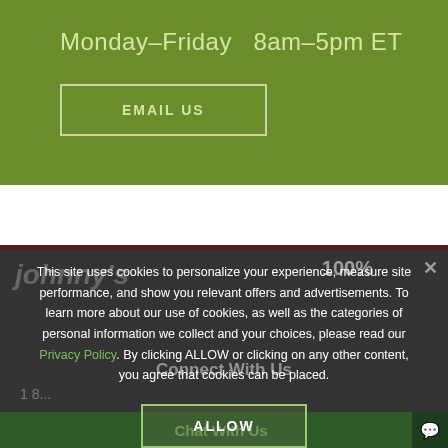Monday–Friday  8am–5pm ET
EMAIL US
[Figure (screenshot): Dimmed website background showing Johnny's logo, 100% badge, and navigation elements]
This site uses cookies to personalize your experience, measure site performance, and show you relevant offers and advertisements. To learn more about our use of cookies, as well as the categories of personal information we collect and your choices, please read our Privacy Policy. By clicking ALLOW or clicking on any other content, you agree that cookies can be placed.
ALLOW
Connect With Us
Chat With Us